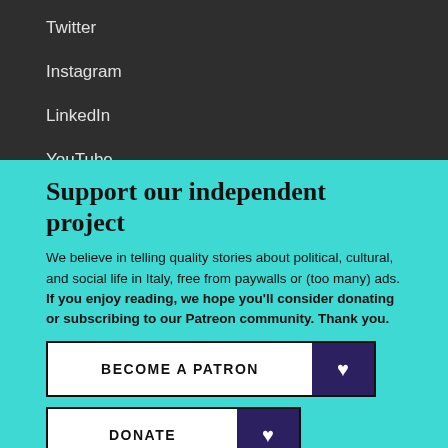Twitter
Instagram
LinkedIn
YouTube
Support our independent project
We believe in telling quality stories about political, cultural, and social life in Italy, free from paywalls or (too many) ads. If you enjoy reading, we hope you'll consider donating or subscribing to our Patreon community. Thank you.
BECOME A PATRON
DONATE
Follow us: Facebook Instagram Twitter